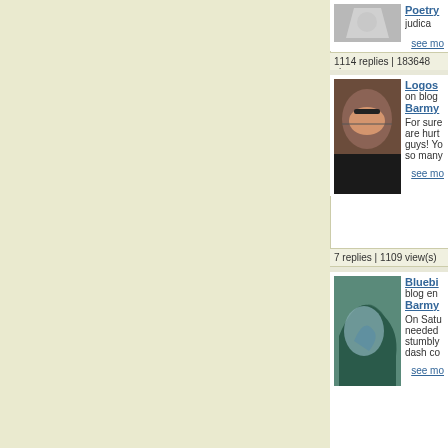[Figure (screenshot): Forum/blog sidebar showing thread listings with avatars, titles, authors, snippets, reply counts and view counts. Left portion shows beige/cream background. Right portion shows white panel with thread entries.]
Poetry
judica
see more
1114 replies | 183648 views
Logos
on blog
Barmy
For sure are hurt guys! Yo so many
see more
7 replies | 1109 view(s)
Bluebi
blog en
Barmy
On Satu needed stumbly dash co
see more